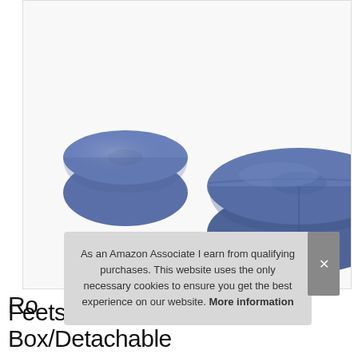[Figure (photo): Two blue round ottomans/footstools on a white background. A smaller one on the left and a larger one with short black legs on the right, both upholstered in blue suede-like fabric.]
As an Amazon Associate I earn from qualifying purchases. This website uses the only necessary cookies to ensure you get the best experience on our website. More information
Ro Feetstool/Storage Box/Detachable